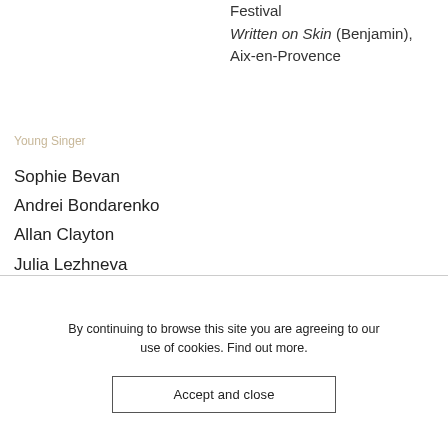Festival
Written on Skin (Benjamin), Aix-en-Provence
Young Singer
Sophie Bevan
Andrei Bondarenko
Allan Clayton
Julia Lezhneva
Duncan Rock
Tamara Wilson
By continuing to browse this site you are agreeing to our use of cookies. Find out more.
Accept and close